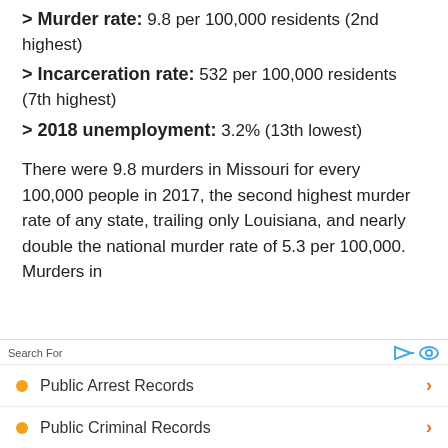> Murder rate: 9.8 per 100,000 residents (2nd highest)
> Incarceration rate: 532 per 100,000 residents (7th highest)
> 2018 unemployment: 3.2% (13th lowest)
There were 9.8 murders in Missouri for every 100,000 people in 2017, the second highest murder rate of any state, trailing only Louisiana, and nearly double the national murder rate of 5.3 per 100,000. Murders in
Search For   Public Arrest Records   Public Criminal Records